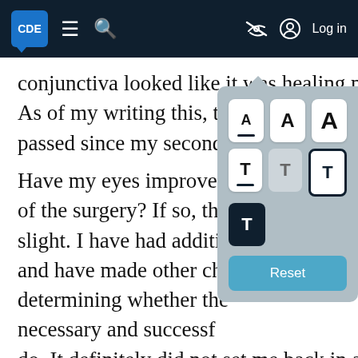CDE | Navigation bar with menu, search, eye-slash icon, user icon, Log in
conjunctiva looked like it was healing nicely. As of my writing this, three [weeks have] passed since my second [surgery].
Have my eyes improved [since the time] of the surgery? If so, the [improvement is] slight. I have had additional [treatments] and have made other cha[nges, making] determining whether the [surgery was] necessary and successfu[l difficult to] do. It definitely did not set me back in any way; however, its benefit is unclear to me at this point. Also, I am still investigating other issues that could be contributing to my dry
[Figure (screenshot): A font-size and text-style selection widget overlay with three 'A' buttons (small, medium, large), four 'T' style buttons (white, gray, outline, dark), and a teal 'Reset' button at the bottom. The widget has a light gray background and a downward-pointing triangle at the top.]